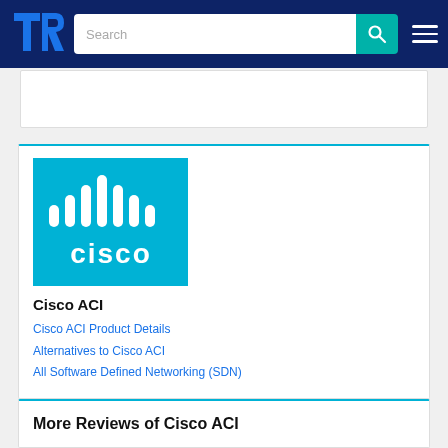[Figure (logo): TrustRadius logo - stylized TR letters in blue]
Search
[Figure (logo): Cisco logo on cyan/blue background with white Cisco wordmark and signal bars]
Cisco ACI
Cisco ACI Product Details
Alternatives to Cisco ACI
All Software Defined Networking (SDN)
More Reviews of Cisco ACI